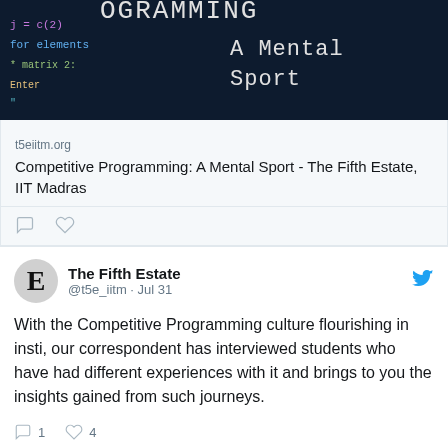[Figure (screenshot): Dark-themed banner image showing code snippets and the text 'A Mental Sport' for a competitive programming article]
t5eiitm.org
Competitive Programming: A Mental Sport - The Fifth Estate, IIT Madras
The Fifth Estate @t5e_iitm · Jul 31
With the Competitive Programming culture flourishing in insti, our correspondent has interviewed students who have had different experiences with it and brings to you the insights gained from such journeys.
1  4
The Fifth Estate